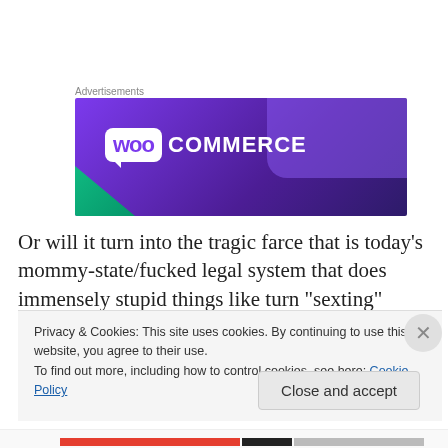Advertisements
[Figure (logo): WooCommerce advertisement banner with purple gradient background, teal triangle in bottom-left corner, and WooCommerce logo in white]
Or will it turn into the tragic farce that is today's mommy-state/fucked legal system that does immensely stupid things like turn "sexting" teens into child-porn possessing
Privacy & Cookies: This site uses cookies. By continuing to use this website, you agree to their use.
To find out more, including how to control cookies, see here: Cookie Policy
Close and accept